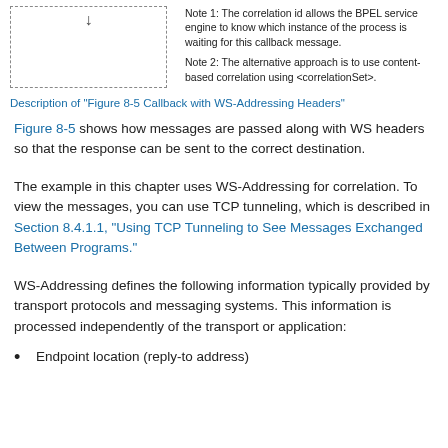[Figure (illustration): Dashed-border box representing a figure placeholder with a downward arrow at top center. Notes appear to the right.]
Note 1: The correlation id allows the BPEL service engine to know which instance of the process is waiting for this callback message.
Note 2: The alternative approach is to use content-based correlation using <correlationSet>.
Description of "Figure 8-5 Callback with WS-Addressing Headers"
Figure 8-5 shows how messages are passed along with WS headers so that the response can be sent to the correct destination.
The example in this chapter uses WS-Addressing for correlation. To view the messages, you can use TCP tunneling, which is described in Section 8.4.1.1, "Using TCP Tunneling to See Messages Exchanged Between Programs."
WS-Addressing defines the following information typically provided by transport protocols and messaging systems. This information is processed independently of the transport or application:
Endpoint location (reply-to address)